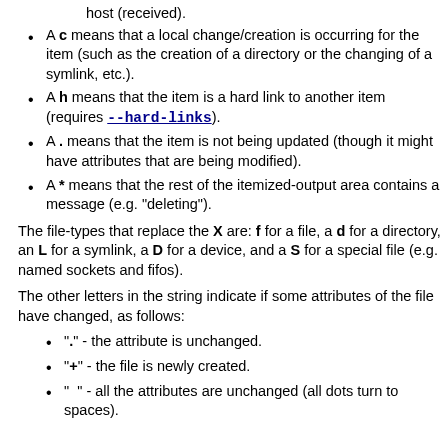host (received).
A c means that a local change/creation is occurring for the item (such as the creation of a directory or the changing of a symlink, etc.).
A h means that the item is a hard link to another item (requires --hard-links).
A . means that the item is not being updated (though it might have attributes that are being modified).
A * means that the rest of the itemized-output area contains a message (e.g. "deleting").
The file-types that replace the X are: f for a file, a d for a directory, an L for a symlink, a D for a device, and a S for a special file (e.g. named sockets and fifos).
The other letters in the string indicate if some attributes of the file have changed, as follows:
"." - the attribute is unchanged.
"+" - the file is newly created.
"  " - all the attributes are unchanged (all dots turn to spaces).